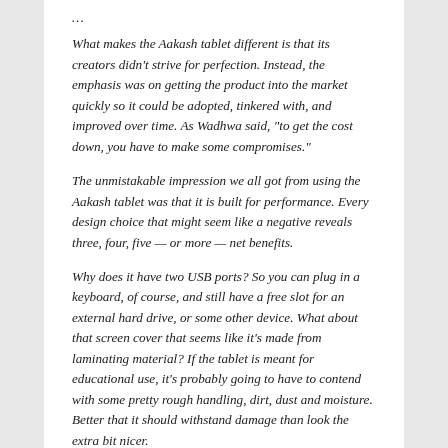…
What makes the Aakash tablet different is that its creators didn't strive for perfection. Instead, the emphasis was on getting the product into the market quickly so it could be adopted, tinkered with, and improved over time. As Wadhwa said, "to get the cost down, you have to make some compromises."
The unmistakable impression we all got from using the Aakash tablet was that it is built for performance. Every design choice that might seem like a negative reveals three, four, five — or more — net benefits.
Why does it have two USB ports? So you can plug in a keyboard, of course, and still have a free slot for an external hard drive, or some other device. What about that screen cover that seems like it's made from laminating material? If the tablet is meant for educational use, it's probably going to have to contend with some pretty rough handling, dirt, dust and moisture. Better that it should withstand damage than look the extra bit nicer.